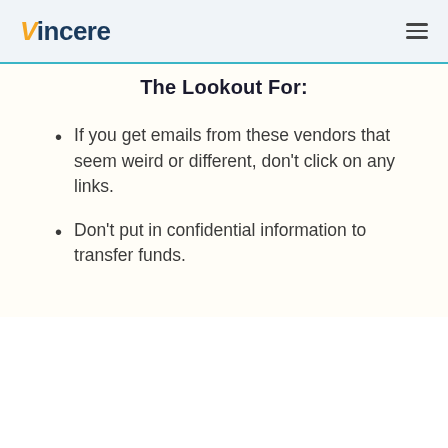Vincere
The Lookout For:
If you get emails from these vendors that seem weird or different, don't click on any links.
Don't put in confidential information to transfer funds.